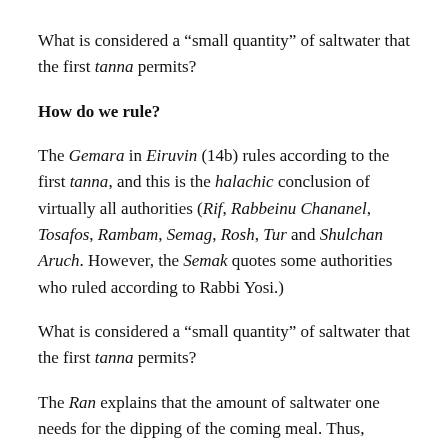What is considered a “small quantity” of saltwater that the first tanna permits?
How do we rule?
The Gemara in Eiruvin (14b) rules according to the first tanna, and this is the halachic conclusion of virtually all authorities (Rif, Rabbeinu Chananel, Tosafos, Rambam, Semag, Rosh, Tur and Shulchan Aruch. However, the Semak quotes some authorities who ruled according to Rabbi Yosi.)
What is considered a “small quantity” of saltwater that the first tanna permits?
The Ran explains that the amount of saltwater one needs for the dipping of the coming meal. Thus, according to his conclusion, one may make saltwater